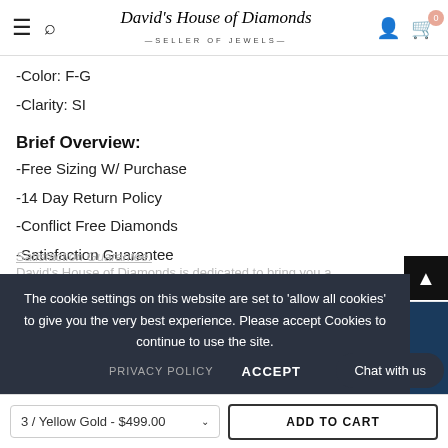David's House of Diamonds — SELLER OF JEWELS —
-Color: F-G
-Clarity: SI
Brief Overview:
-Free Sizing W/ Purchase
-14 Day Return Policy
-Conflict Free Diamonds
-Satisfaction Guarantee
The cookie settings on this website are set to 'allow all cookies' to give you the very best experience. Please accept Cookies to continue to use the site.
PRIVACY POLICY   ACCEPT
Chat with us
Satisfaction Guarantee. David's House of Diamonds is dedicated to bring you a pleasant no-hassle online buying experience. All of our Jewels come with a 14 days money back guarantee
3 / Yellow Gold - $499.00   ADD TO CART